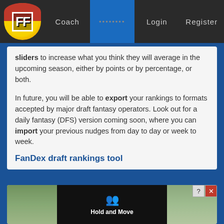FF Coach •••••••• Login Register
sliders to increase what you think they will average in the upcoming season, either by points or by percentage, or both.

In future, you will be able to export your rankings to formats accepted by major draft fantasy operators. Look out for a daily fantasy (DFS) version coming soon, where you can import your previous nudges from day to day or week to week.
FanDex draft rankings tool
[Figure (screenshot): Advertisement or app screenshot showing a dark overlay with people icon and 'Hold and Move' text, with tree/outdoor background and close/help buttons.]